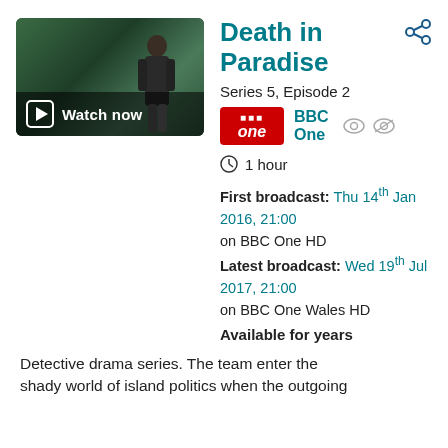[Figure (screenshot): Thumbnail image of a man in a suit outdoors with tropical greenery, overlaid with a 'Watch now' button and iPlayer play icon]
Death in Paradise
Series 5, Episode 2
[Figure (logo): BBC One red square logo badge]
BBC One
1 hour
First broadcast: Thu 14th Jan 2016, 21:00 on BBC One HD
Latest broadcast: Wed 19th Jul 2017, 21:00 on BBC One Wales HD
Available for years
Detective drama series. The team enter the shady world of island politics when the outgoing